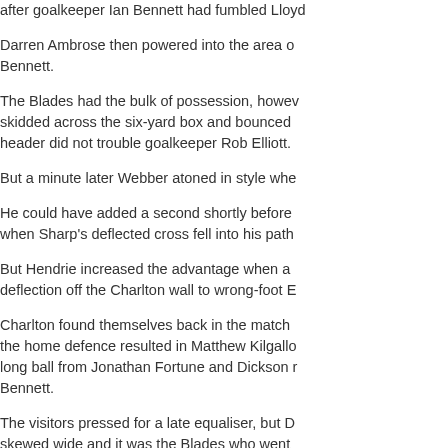after goalkeeper Ian Bennett had fumbled Lloyd
Darren Ambrose then powered into the area o Bennett.
The Blades had the bulk of possession, however, skidded across the six-yard box and bounced header did not trouble goalkeeper Rob Elliott.
But a minute later Webber atoned in style whe
He could have added a second shortly before when Sharp's deflected cross fell into his path
But Hendrie increased the advantage when a deflection off the Charlton wall to wrong-foot E
Charlton found themselves back in the match the home defence resulted in Matthew Kilgallo long ball from Jonathan Fortune and Dickson r Bennett.
The visitors pressed for a late equaliser, but D skewed wide and it was the Blades who went
Sheffield United manager Kevin Blackwell: